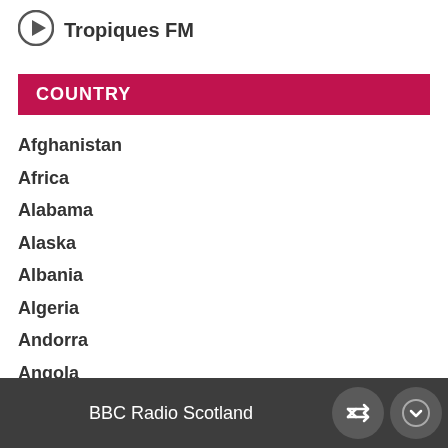[Figure (logo): Play button circle icon next to station name Tropiques FM]
Tropiques FM
COUNTRY
Afghanistan
Africa
Alabama
Alaska
Albania
Algeria
Andorra
Angola
Antigua and Barbuda
Arabic
BBC Radio Scotland